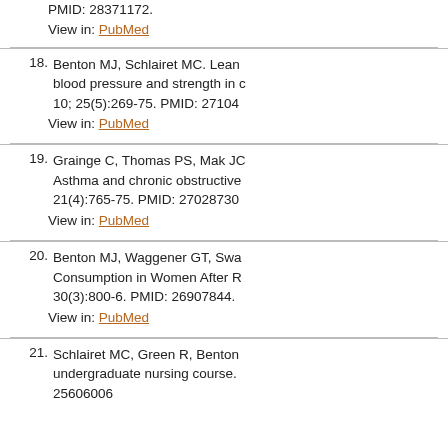PMID: 28371172.
View in: PubMed
18. Benton MJ, Schlairet MC. Lean blood pressure and strength in c 10; 25(5):269-75. PMID: 27104
View in: PubMed
19. Grainge C, Thomas PS, Mak JC. Asthma and chronic obstructive 21(4):765-75. PMID: 27028730
View in: PubMed
20. Benton MJ, Waggener GT, Swa Consumption in Women After R 30(3):800-6. PMID: 26907844.
View in: PubMed
21. Schlairet MC, Green R, Benton undergraduate nursing course. 25606006